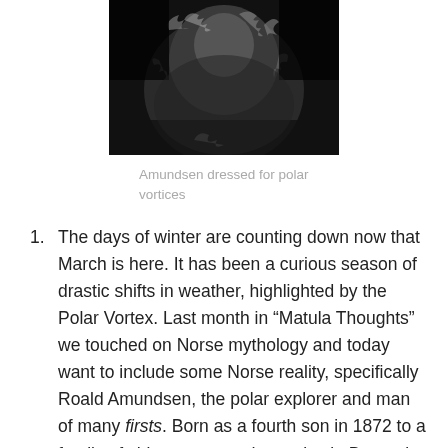[Figure (photo): Black and white photograph of Amundsen dressed in heavy polar fur clothing]
Amundsen dressed for polar vortices
The days of winter are counting down now that March is here. It has been a curious season of drastic shifts in weather, highlighted by the Polar Vortex. Last month in “Matula Thoughts” we touched on Norse mythology and today want to include some Norse reality, specifically Roald Amundsen, the polar explorer and man of many firsts. Born as a fourth son in 1872 to a family of ship owners and captains in Borge, in the United Kingdoms of Sweden and Norway, his mother